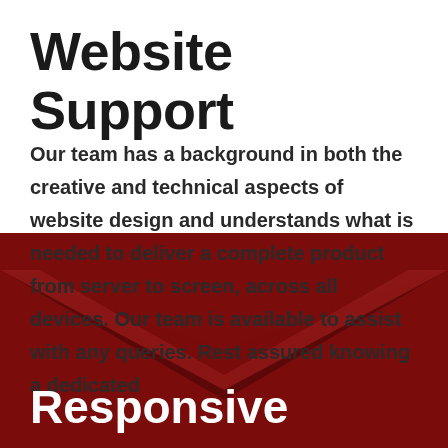Website Support
Our team has a background in both the creative and technical aspects of website design and understands what is needed to deliver a complete product from server to screen, across all devices. Our team is available to assist with any queries. Rest assured knowing a dedicated
[Figure (illustration): Dark red/maroon chevron arrow pointing downward, spanning the lower half of the page as a decorative graphic element]
Responsive